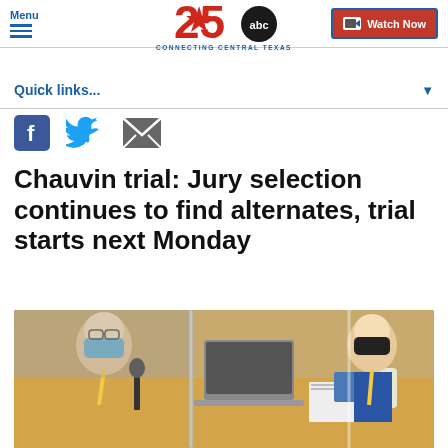Menu | 25 ABC Connecting Central Texas | Watch Now
Quick links...
[Figure (screenshot): Social share icons: Facebook (blue F), Twitter (blue bird), Email (grey envelope)]
Chauvin trial: Jury selection continues to find alternates, trial starts next Monday
[Figure (photo): Courtroom scene showing two individuals wearing masks seated at a wooden table with a laptop and documents, separated by plexiglass dividers]